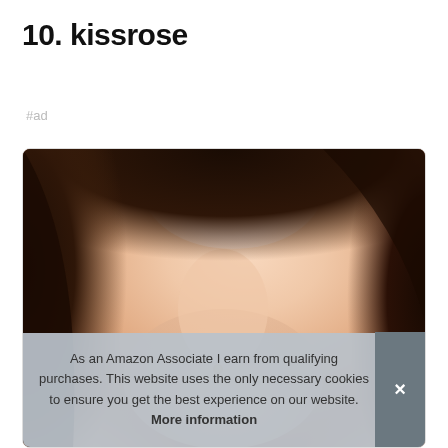10. kissrose
#ad
[Figure (photo): Close-up photo of a smiling woman with dark hair, bare shoulders, and hands near her chest, wearing a small ring.]
As an Amazon Associate I earn from qualifying purchases. This website uses the only necessary cookies to ensure you get the best experience on our website. More information